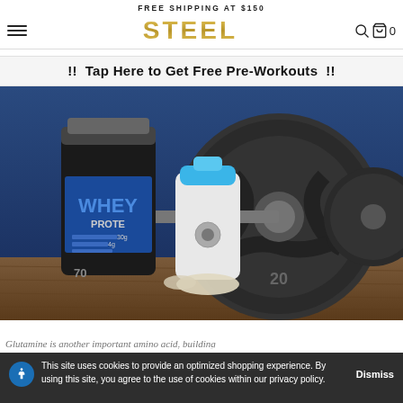FREE SHIPPING AT $150
[Figure (logo): STEEL brand logo in gold gradient lettering]
!! Tap Here to Get Free Pre-Workouts !!
[Figure (photo): Whey protein container, shaker bottle with blue lid, and weight plates on a wooden surface with blue background]
TURBOCHARGING WITH SUPPLEMENTS
Glutamine is another important amino acid, building
This site uses cookies to provide an optimized shopping experience. By using this site, you agree to the use of cookies within our privacy policy. Dismiss